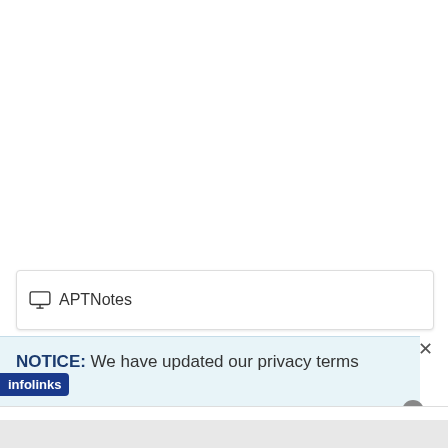[Figure (screenshot): White empty area at the top of the page, approximately 270px tall]
APTNotes
NOTICE: We have updated our privacy terms and
infolinks
Belk.com - Belk® - Official Site
Shop for clothing, handbags, jewelry, beauty, home & more!
www.belk.com